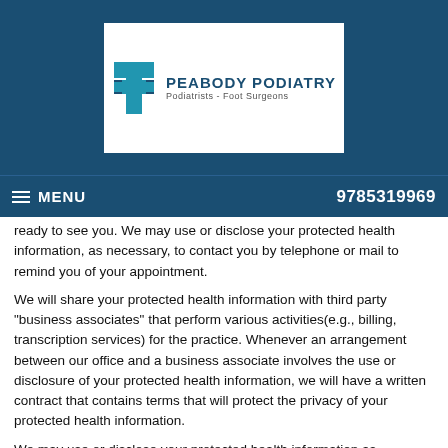[Figure (logo): Peabody Podiatry logo with blue cross/plus symbol and text 'PEABODY PODIATRY Podiatrists - Foot Surgeons']
≡ MENU   9785319969
ready to see you. We may use or disclose your protected health information, as necessary, to contact you by telephone or mail to remind you of your appointment.
We will share your protected health information with third party "business associates" that perform various activities(e.g., billing, transcription services) for the practice. Whenever an arrangement between our office and a business associate involves the use or disclosure of your protected health information, we will have a written contract that contains terms that will protect the privacy of your protected health information.
We may use or disclose your protected health information,as necessary, to provide you with information about treatment